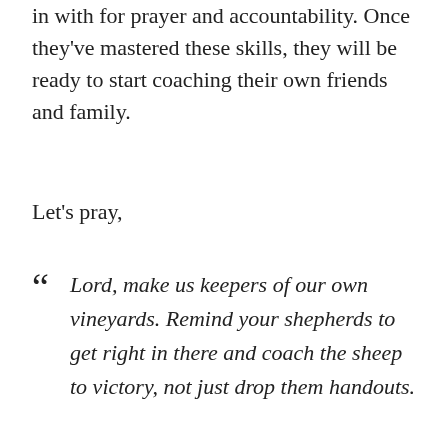in with for prayer and accountability. Once they've mastered these skills, they will be ready to start coaching their own friends and family.
Let's pray,
“ Lord, make us keepers of our own vineyards. Remind your shepherds to get right in there and coach the sheep to victory, not just drop them handouts.